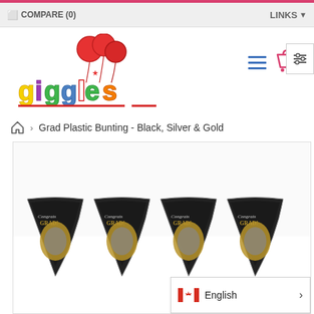COMPARE (0)    LINKS
[Figure (logo): Giggles party store logo with colorful text and balloons]
Grad Plastic Bunting - Black, Silver & Gold
[Figure (photo): Grad Plastic Bunting product image showing black, silver and gold graduation bunting with 'Congrats Grad!' text]
English